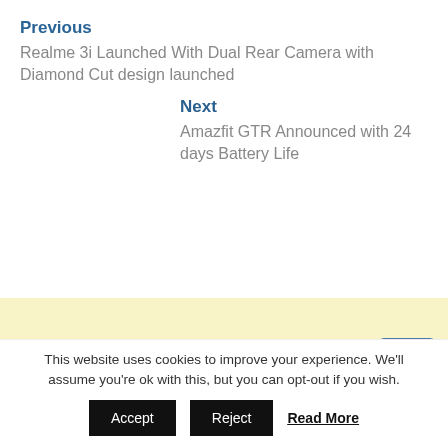Previous
Realme 3i Launched With Dual Rear Camera with Diamond Cut design launched
Next
Amazfit GTR Announced with 24 days Battery Life
[Figure (other): Light yellow advertisement banner area]
This website uses cookies to improve your experience. We'll assume you're ok with this, but you can opt-out if you wish.
Accept
Reject
Read More